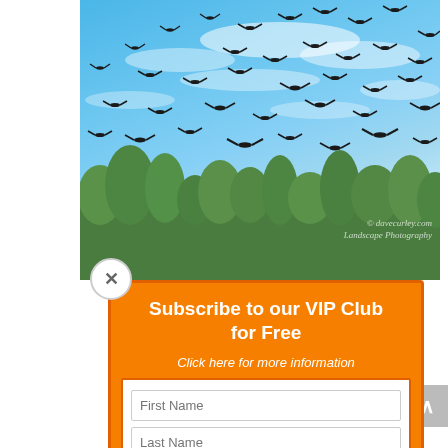[Figure (photo): Flock of birds (black silhouettes) flying against a bright blue sky with white clouds, with green treetops visible at the bottom. Watermark reads: © davecurley.com / Landscape Photography]
hep National Park, tralia
g surrounded by their intricate nd the ed taking flight at imply
Subscribe to our VIP Club for Free
Click here for more information
First Name
Last Name
Email
SUBSCRIBE!
Privacy: We will never pass on your details to any third party